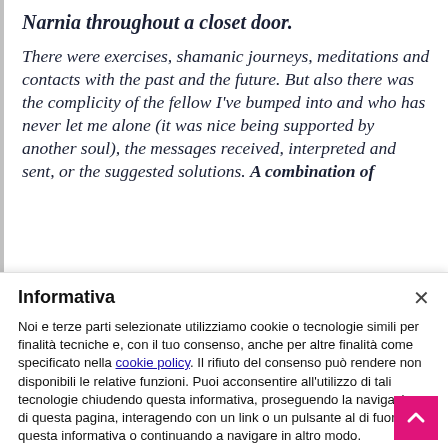Narnia throughout a closet door.
There were exercises, shamanic journeys, meditations and contacts with the past and the future. But also there was the complicity of the fellow I've bumped into and who has never let me alone (it was nice being supported by another soul), the messages received, interpreted and sent, or the suggested solutions. A combination of
Informativa
Noi e terze parti selezionate utilizziamo cookie o tecnologie simili per finalità tecniche e, con il tuo consenso, anche per altre finalità come specificato nella cookie policy. Il rifiuto del consenso può rendere non disponibili le relative funzioni. Puoi acconsentire all'utilizzo di tali tecnologie chiudendo questa informativa, proseguendo la navigazione di questa pagina, interagendo con un link o un pulsante al di fuori di questa informativa o continuando a navigare in altro modo.